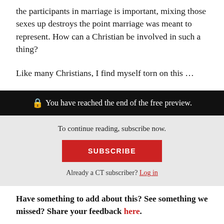the participants in marriage is important, mixing those sexes up destroys the point marriage was meant to represent. How can a Christian be involved in such a thing?
Like many Christians, I find myself torn on this …
🔒 You have reached the end of the free preview.
To continue reading, subscribe now.
SUBSCRIBE
Already a CT subscriber? Log in
Have something to add about this? See something we missed? Share your feedback here.